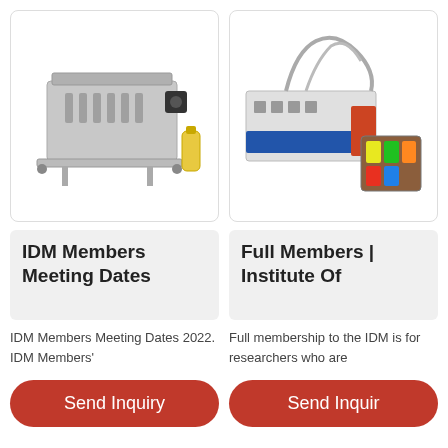[Figure (photo): Industrial filling machine with bottles, silver/gray machine body with multiple fill nozzles and a yellow bottle at the right side]
[Figure (photo): Industrial sachet/pouch packaging machine with blue and silver components, plus an inset image of colorful packaged sachets]
IDM Members Meeting Dates
Full Members | Institute Of
IDM Members Meeting Dates 2022. IDM Members'
Full membership to the IDM is for researchers who are
Send Inquiry
Send Inquiry